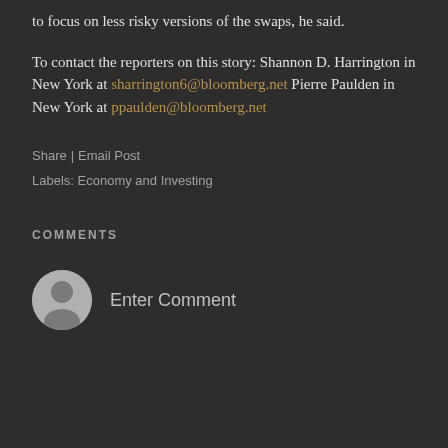to focus on less risky versions of the swaps, he said.
To contact the reporters on this story: Shannon D. Harrington in New York at sharrington6@bloomberg.net Pierre Paulden in New York at ppaulden@bloomberg.net
Share | Email Post
Labels: Economy and Investing
COMMENTS
[Figure (illustration): Default user avatar icon — gray circle with silhouette of a person]
Enter Comment